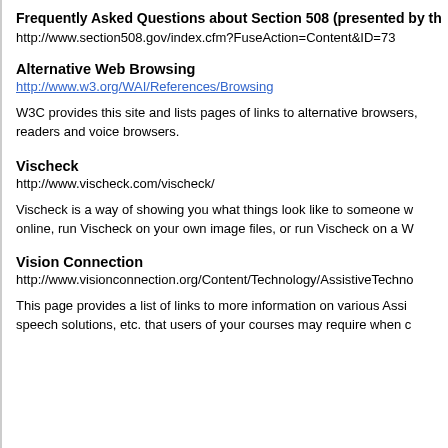Frequently Asked Questions about Section 508 (presented by th...
http://www.section508.gov/index.cfm?FuseAction=Content&ID=73
Alternative Web Browsing
http://www.w3.org/WAI/References/Browsing
W3C provides this site and lists pages of links to alternative browsers, readers and voice browsers.
Vischeck
http://www.vischeck.com/vischeck/
Vischeck is a way of showing you what things look like to someone w... online, run Vischeck on your own image files, or run Vischeck on a W...
Vision Connection
http://www.visionconnection.org/Content/Technology/AssistiveTechno...
This page provides a list of links to more information on various Assi... speech solutions, etc. that users of your courses may require when c...